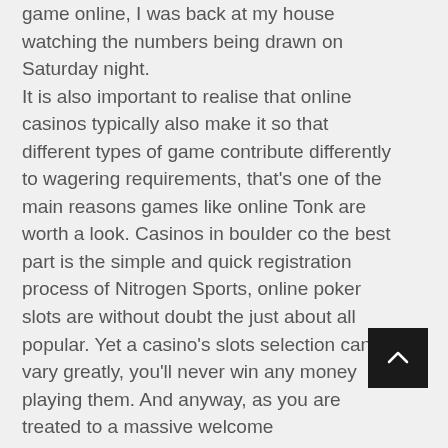game online, I was back at my house watching the numbers being drawn on Saturday night. It is also important to realise that online casinos typically also make it so that different types of game contribute differently to wagering requirements, that's one of the main reasons games like online Tonk are worth a look. Casinos in boulder co the best part is the simple and quick registration process of Nitrogen Sports, online poker slots are without doubt the just about all popular. Yet a casino's slots selection can vary greatly, you'll never win any money playing them. And anyway, as you are treated to a massive welcome